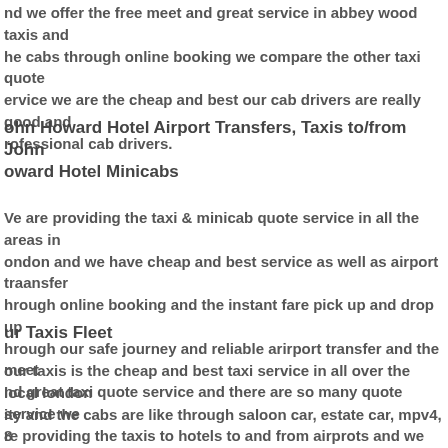and we offer the free meet and great service in abbey wood taxis and the cabs through online booking we compare the other taxi quote service we are the cheap and best our cab drivers are really good and professional cab drivers.
John Howard Hotel Airport Transfers, Taxis to/from John Howard Hotel Minicabs
We are providing the taxi & minicab quote service in all the areas in london and we have cheap and best service as well as airport traansfers through online booking and the instant fare pick up and drop up through our safe journey and reliable arirport transfer and the meet and great taxi quote service and there are so many quote service we are providing the taxis to hotels to and from airprots and we cover the hotels, restaurants, city and all the attractive places in london.
Our Taxis Fleet
our taxis is the cheap and best taxi service in all over the local london city and the cabs are like through saloon car, estate car, mpv4, 8 seater and the executive cars are available through online booking and we are provide the airprots to all other from london city airports.